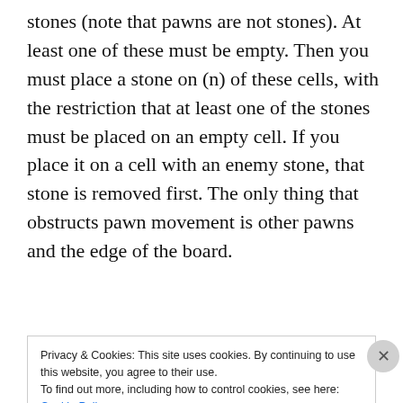stones (note that pawns are not stones). At least one of these must be empty. Then you must place a stone on (n) of these cells, with the restriction that at least one of the stones must be placed on an empty cell. If you place it on a cell with an enemy stone, that stone is removed first. The only thing that obstructs pawn movement is other pawns and the edge of the board.
[Figure (illustration): Hexagonal board game grid made of gray hexagonal cells arranged in a triangular/trapezoidal shape. An orange hexagonal piece is visible near the bottom center. Two hexagonal pieces (blue and orange) are shown in the upper right corner as legend/key.]
Privacy & Cookies: This site uses cookies. By continuing to use this website, you agree to their use.
To find out more, including how to control cookies, see here: Cookie Policy
Close and accept